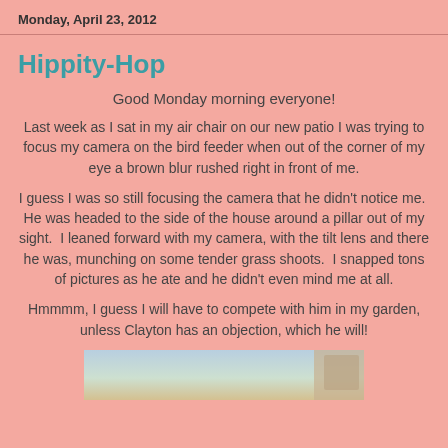Monday, April 23, 2012
Hippity-Hop
Good Monday morning everyone!
Last week as I sat in my air chair on our new patio I was trying to focus my camera on the bird feeder when out of the corner of my eye a brown blur rushed right in front of me.
I guess I was so still focusing the camera that he didn't notice me.  He was headed to the side of the house around a pillar out of my sight.  I leaned forward with my camera, with the tilt lens and there he was, munching on some tender grass shoots.  I snapped tons of pictures as he ate and he didn't even mind me at all.
Hmmmm, I guess I will have to compete with him in my garden, unless Clayton has an objection, which he will!
[Figure (photo): Partial photograph visible at bottom of page, appears to show an outdoor scene]